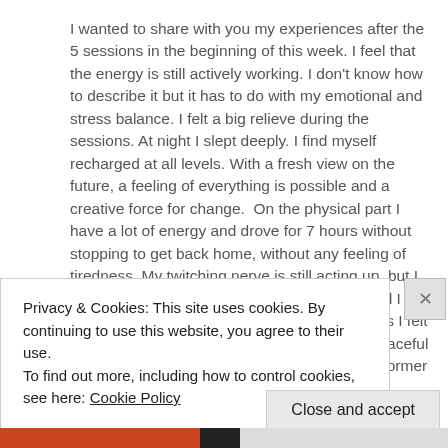I wanted to share with you my experiences after the 5 sessions in the beginning of this week. I feel that the energy is still actively working. I don't know how to describe it but it has to do with my emotional and stress balance. I felt a big relieve during the sessions. At night I slept deeply. I find myself recharged at all levels. With a fresh view on the future, a feeling of everything is possible and a creative force for change.  On the physical part I have a lot of energy and drove for 7 hours without stopping to get back home, without any feeling of tiredness. My twitching nerve is still acting up, but I can feel that the energy has not settled yet and I still expect improvement there. During the sessions I felt lifted out of my body and renewed in a very peaceful way. Physical aches and pains on scars from former surgeries were
Privacy & Cookies: This site uses cookies. By continuing to use this website, you agree to their use.
To find out more, including how to control cookies, see here: Cookie Policy
Close and accept